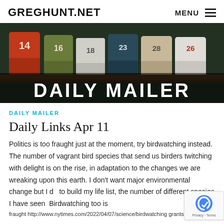GREGHUNT.NET
[Figure (photo): Banner image showing a row of colorful numbered mailboxes (14, 16, 18, 23, 28, 26) with 'DAILY MAILER' text overlaid in large white bold letters]
DAILY MAILER
Daily Links Apr 11
Politics is too fraught just at the moment, try birdwatching instead. The number of vagrant bird species that send us birders twitching with delight is on the rise, in adaptation to the changes we are wreaking upon this earth. I don't want major environmental change but I do to build my life list, the number of different species I have seen. Birdwatching too is fraught http://www.nytimes.com/2022/04/07/science/birdwatching grants last